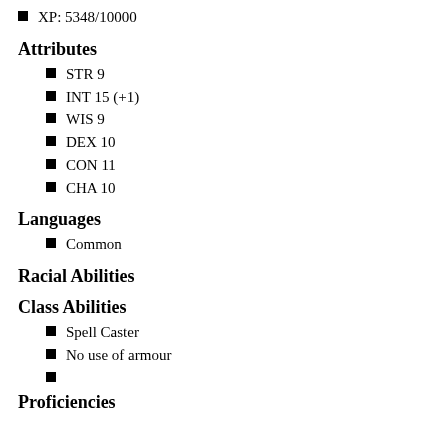XP: 5348/10000
Attributes
STR 9
INT 15 (+1)
WIS 9
DEX 10
CON 11
CHA 10
Languages
Common
Racial Abilities
Class Abilities
Spell Caster
No use of armour
Proficiencies